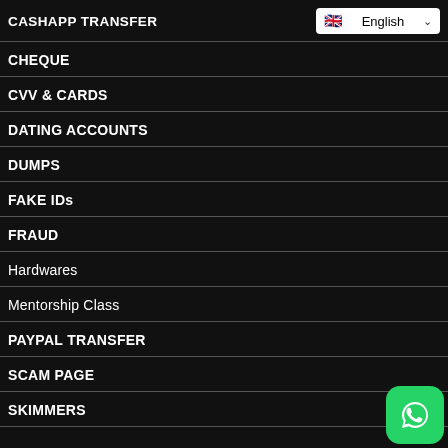CASHAPP TRANSFER
English
CHEQUE
CVV & CARDS
DATING ACCOUNTS
DUMPS
FAKE IDs
FRAUD
Hardwares
Mentorship Class
PAYPAL TRANSFER
SCAM PAGE
SKIMMERS
[Figure (logo): WhatsApp green button icon bottom right]